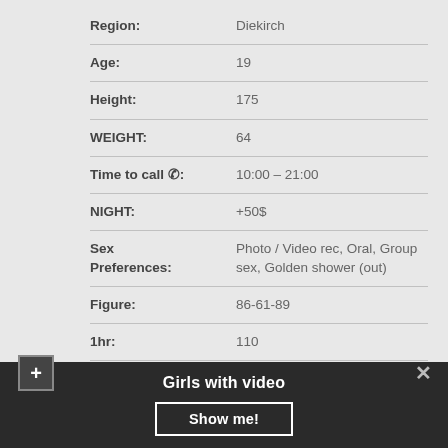| Field | Value |
| --- | --- |
| Region: | Diekirch |
| Age: | 19 |
| Height: | 175 |
| WEIGHT: | 64 |
| Time to call ☎: | 10:00 – 21:00 |
| NIGHT: | +50$ |
| Sex Preferences: | Photo / Video rec, Oral, Group sex, Golden shower (out) |
| Figure: | 86-61-89 |
| 1hr: | 110 |
| Nationality: | Hungarian |
Girls with video
Show me!